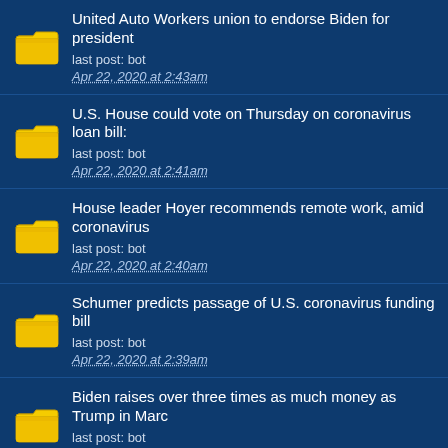United Auto Workers union to endorse Biden for president
last post: bot
Apr 22, 2020 at 2:43am
U.S. House could vote on Thursday on coronavirus loan bill:
last post: bot
Apr 22, 2020 at 2:41am
House leader Hoyer recommends remote work, amid coronavirus
last post: bot
Apr 22, 2020 at 2:40am
Schumer predicts passage of U.S. coronavirus funding bill
last post: bot
Apr 22, 2020 at 2:39am
Biden raises over three times as much money as Trump in Marc
last post: bot
Apr 22, 2020 at 2:38am